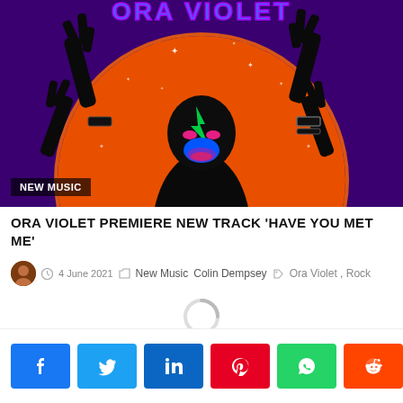[Figure (illustration): Album art / promotional image for Ora Violet: a stylized dark figure with a Bowie-style lightning bolt, glowing pink eyes and blue mask, hands raised in rock gestures, set against a large orange circle on a purple starry background. 'ORA VIOLET' text at top in blue/purple. 'NEW MUSIC' badge at bottom left.]
ORA VIOLET PREMIERE NEW TRACK 'HAVE YOU MET ME'
4 June 2021   New Music   Colin Dempsey   Ora Violet , Rock
[Figure (other): Loading spinner circle indicator]
< 22 SHARES (Facebook, Twitter, LinkedIn, Pinterest, WhatsApp, Reddit share buttons)